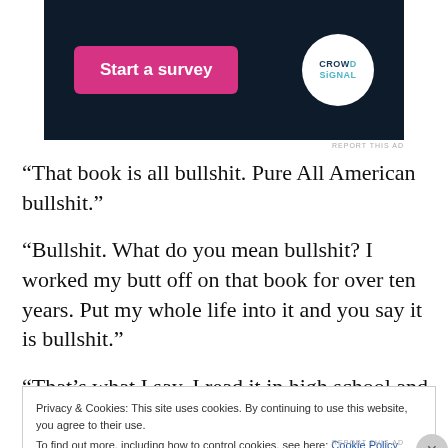[Figure (screenshot): Dark navy banner ad with a pink 'Start a survey' button on the left and the CrowdSignal logo (white circle with teal and navy text) on the right]
REPORT THIS AD
“That book is all bullshit. Pure All American bullshit.”
“Bullshit. What do you mean bullshit? I worked my butt off on that book for over ten years. Put my whole life into it and you say it is bullshit.”
“That’s what I say. I read it in high school and I just didn’t
Privacy & Cookies: This site uses cookies. By continuing to use this website, you agree to their use.
To find out more, including how to control cookies, see here: Cookie Policy
Close and accept
REPORT THIS AD